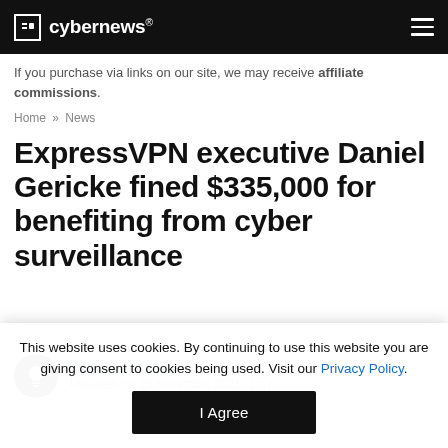cybernews®
If you purchase via links on our site, we may receive affiliate commissions.
Home » News
ExpressVPN executive Daniel Gericke fined $335,000 for benefiting from cyber surveillance
Cybernews Team
Updated on: 29 November 2021
This website uses cookies. By continuing to use this website you are giving consent to cookies being used. Visit our Privacy Policy.
I Agree